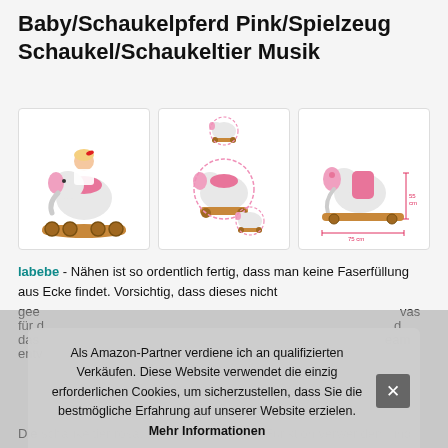Baby/Schaukelpferd Pink/Spielzeug Schaukel/Schaukeltier Musik
[Figure (photo): Three product images of a pink elephant rocking toy: left shows a child riding it, center shows size variants, right shows dimensions.]
labebe - Nähen ist so ordentlich fertig, dass man keine Faserfüllung aus Ecke findet. Vorsichtig, dass dieses nicht gee... was für d... d das... eam entv...
Als Amazon-Partner verdiene ich an qualifizierten Verkäufen. Diese Website verwendet die einzig erforderlichen Cookies, um sicherzustellen, dass Sie die bestmögliche Erfahrung auf unserer Website erzielen. Mehr Informationen
Die schaukeltier rosa. Eltern können diese Funktion verwenden, und